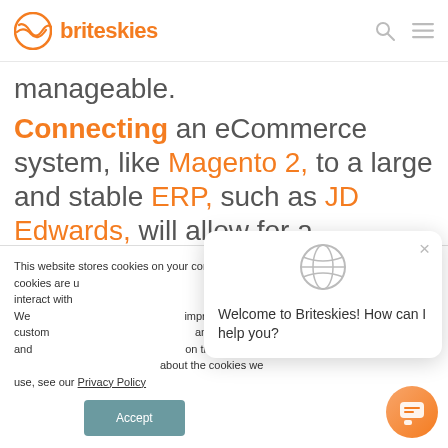briteskies
manageable.
Connecting an eCommerce system, like Magento 2, to a large and stable ERP, such as JD Edwards, will allow for a seamless movement of data.
This website stores cookies on your computer. These cookies are used to collect information about how you interact with our website and allow us to remember you. We use this information in order to improve and customize your browsing experience and for analytics and metrics about our visitors both on this website and other media. To find out more about the cookies we use, see our Privacy Policy
Welcome to Briteskies! How can I help you?